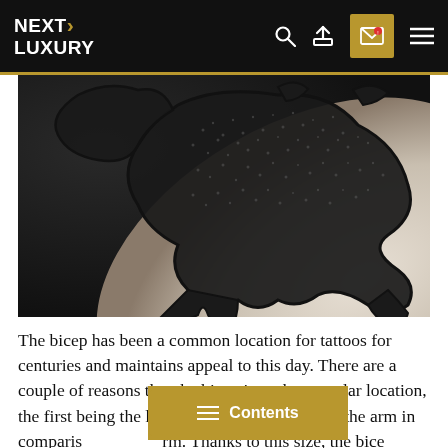NEXT LUXURY
[Figure (photo): Close-up black and white photograph of a bicep tattoo featuring abstract bear or animal shapes with dotwork shading on skin]
The bicep has been a common location for tattoos for centuries and maintains appeal to this day. There are a couple of reasons that the bicep is such a popular location, the first being the larger size of this portion of the arm in comparison to the forearm. Thanks to this size, the bicep can hold more detail than the forearm